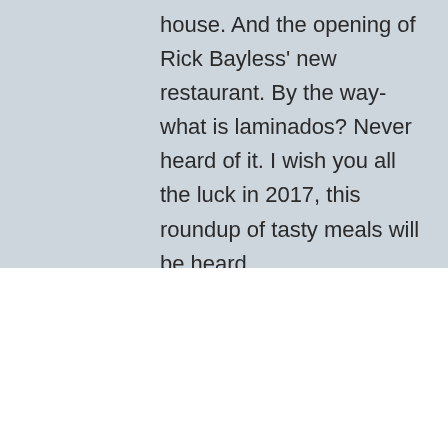house. And the opening of Rick Bayless' new restaurant. By the way-what is laminados? Never heard of it. I wish you all the luck in 2017, this roundup of tasty meals will be heard
We use cookies on our website to give you the most relevant experience by remembering your preferences and repeat visits. By clicking "Accept", you consent to the use of ALL the cookies. For our full privacy policy  Read More
Cookie settings
ACCEPT